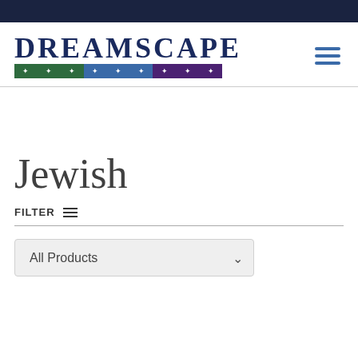[Figure (logo): Dreamscape logo with text 'DREAMSCAPE' in dark navy serif font, and a colored bar below divided into green, blue, and purple sections with white stars]
Jewish
FILTER
All Products